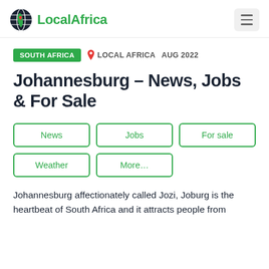Local Africa
SOUTH AFRICA  LOCAL AFRICA  AUG 2022
Johannesburg – News, Jobs & For Sale
News
Jobs
For sale
Weather
More…
Johannesburg affectionately called Jozi, Joburg is the heartbeat of South Africa and it attracts people from